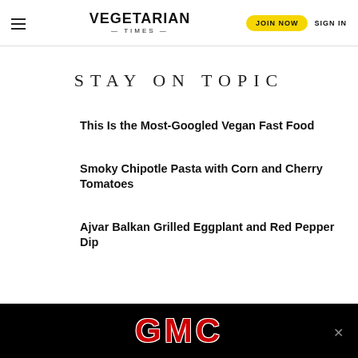VEGETARIAN — TIMES — | JOIN NOW | SIGN IN
STAY ON TOPIC
This Is the Most-Googled Vegan Fast Food
Smoky Chipotle Pasta with Corn and Cherry Tomatoes
Ajvar Balkan Grilled Eggplant and Red Pepper Dip
[Figure (advertisement): GMC advertisement banner with red GMC logo text on black background]